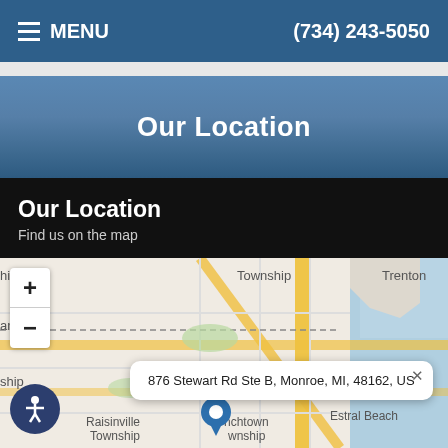MENU   (734) 243-5050
Our Location
Our Location
Find us on the map
[Figure (map): Interactive street map showing location in Monroe, MI area. Shows Ash Township, Township, Trenton, Raisinville Township labels, Interstate 75 marker. Zoom controls (+/-) visible. Map marker at address location.]
876 Stewart Rd Ste B, Monroe, MI, 48162, US